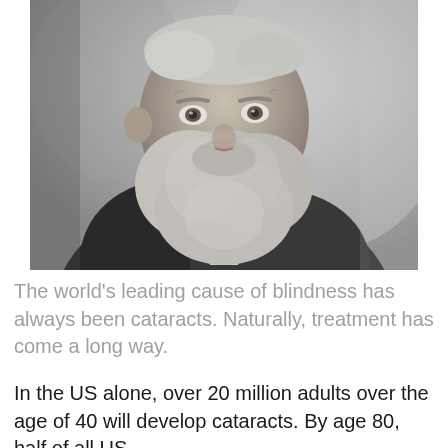[Figure (photo): Black and white portrait photograph of an elderly bearded man, likely Claude Monet, wearing a dark coat with a white collar/cravat visible. He has a large, bushy white-grey beard and is looking slightly to the side. The background is a plain light grey.]
The world's leading cause of blindness has always been cataracts. Naturally, treatment has come a long way.
In the US alone, over 20 million adults over the age of 40 will develop cataracts. By age 80, half of all US